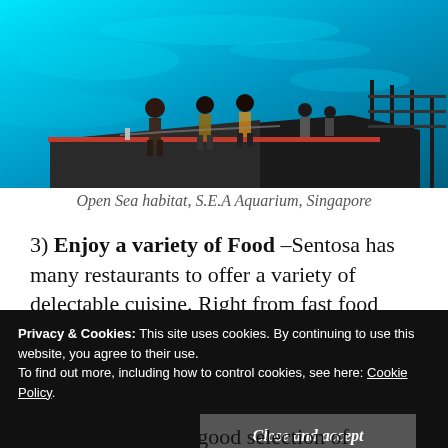[Figure (photo): People walking on a dark pier/boardwalk structure at the Open Sea habitat of S.E.A Aquarium in Singapore. The background shows vivid blue water/aquarium environment with railing on the right side.]
Open Sea habitat, S.E.A Aquarium, Singapore
3) Enjoy a variety of Food –Sentosa has many restaurants to offer a variety of delectable cuisine. Right from fast food joints to upmarket Michelin star restaurants. Once we came out of the SEA Aquarium, it was time for lunch and we were really
Privacy & Cookies: This site uses cookies. By continuing to use this website, you agree to their use. To find out more, including how to control cookies, see here: Cookie Policy.
which had a really good selection of delicious ice